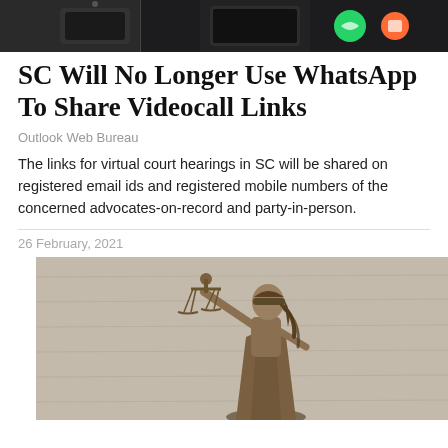[Figure (photo): Top strip showing mobile phone screens with WhatsApp or messaging apps visible]
SC Will No Longer Use WhatsApp To Share Videocall Links
Outlook Web Bureau
The links for virtual court hearings in SC will be shared on registered email ids and registered mobile numbers of the concerned advocates-on-record and party-in-person.
26 February, 2021
[Figure (photo): Bronze statue of Lady Justice (Themis/Justitia) holding scales of justice, blindfolded, against a wooden background]